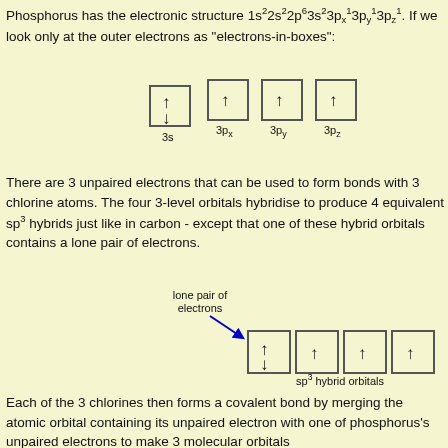Phosphorus has the electronic structure 1s²2s²2p⁶3s²3px¹3py¹3pz¹. If we look only at the outer electrons as "electrons-in-boxes":
[Figure (schematic): Electrons-in-boxes diagram showing 3s orbital with paired up/down arrows, and 3px, 3py, 3pz each with single up arrows]
There are 3 unpaired electrons that can be used to form bonds with 3 chlorine atoms. The four 3-level orbitals hybridise to produce 4 equivalent sp³ hybrids just like in carbon - except that one of these hybrid orbitals contains a lone pair of electrons.
[Figure (schematic): sp3 hybrid orbitals diagram: four boxes, first with paired up/down arrows (lone pair), remaining three with single up arrows. Annotation 'lone pair of electrons' with blue arrow pointing to first box.]
Each of the 3 chlorines then forms a covalent bond by merging the atomic orbital containing its unpaired electron with one of phosphorus's unpaired electrons to make 3 molecular orbitals